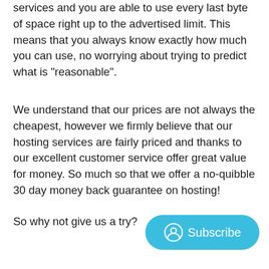services and you are able to use every last byte of space right up to the advertised limit. This means that you always know exactly how much you can use, no worrying about trying to predict what is "reasonable".
We understand that our prices are not always the cheapest, however we firmly believe that our hosting services are fairly priced and thanks to our excellent customer service offer great value for money. So much so that we offer a no-quibble 30 day money back guarantee on hosting!
So why not give us a try?
[Figure (other): A teal/blue rounded pill-shaped Subscribe button with a user/account circle icon on the left and the word Subscribe in white text.]